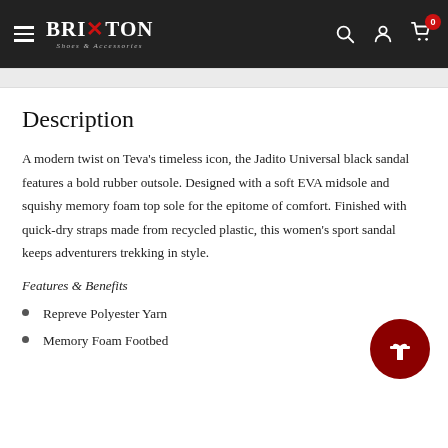BRIXTON Shoes & Accessories — navigation header
Description
A modern twist on Teva's timeless icon, the Jadito Universal black sandal features a bold rubber outsole. Designed with a soft EVA midsole and squishy memory foam top sole for the epitome of comfort. Finished with quick-dry straps made from recycled plastic, this women's sport sandal keeps adventurers trekking in style.
Features & Benefits
Repreve Polyester Yarn
Memory Foam Footbed